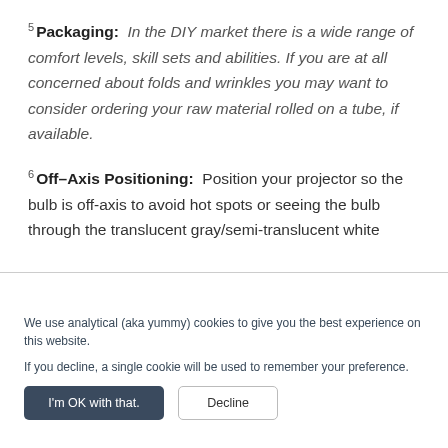5 Packaging: In the DIY market there is a wide range of comfort levels, skill sets and abilities. If you are at all concerned about folds and wrinkles you may want to consider ordering your raw material rolled on a tube, if available.
6 Off-Axis Positioning: Position your projector so the bulb is off-axis to avoid hot spots or seeing the bulb through the translucent gray/semi-translucent white
[Figure (screenshot): Cookie consent dialog overlay with close button (×), two paragraphs of text about analytical cookies, and two buttons: 'I'm OK with that.' (dark) and 'Decline' (outline).]